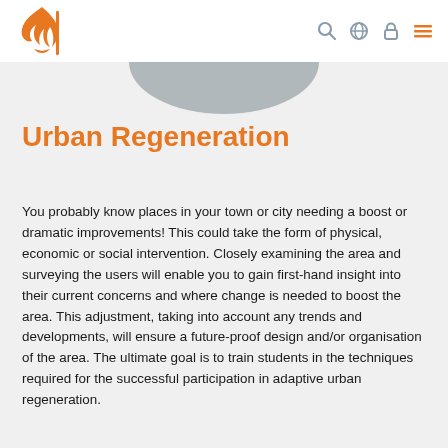[Logo and navigation icons: search, globe, lock, menu]
[Figure (illustration): Partial circular image visible at top of content area, appears to be a cropped photograph]
Urban Regeneration
You probably know places in your town or city needing a boost or dramatic improvements! This could take the form of physical, economic or social intervention. Closely examining the area and surveying the users will enable you to gain first-hand insight into their current concerns and where change is needed to boost the area. This adjustment, taking into account any trends and developments, will ensure a future-proof design and/or organisation of the area. The ultimate goal is to train students in the techniques required for the successful participation in adaptive urban regeneration.